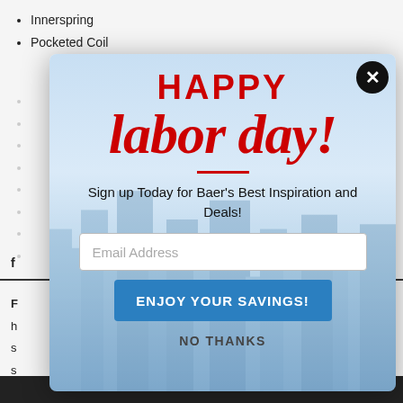Innerspring
Pocketed Coil
[Figure (screenshot): Labor Day popup modal overlay on a retail website. Modal has a city skyline background with text 'HAPPY labor day!' in red, a signup form with email address input, 'ENJOY YOUR SAVINGS!' blue button, and 'NO THANKS' link. A black close (X) button is in the top-right corner.]